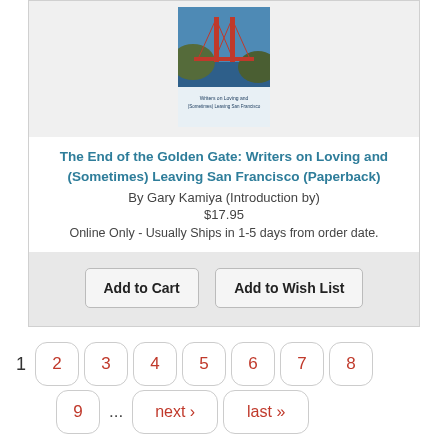[Figure (photo): Book cover of 'The End of the Golden Gate: Writers on Loving and (Sometimes) Leaving San Francisco' showing Golden Gate Bridge]
The End of the Golden Gate: Writers on Loving and (Sometimes) Leaving San Francisco (Paperback)
By Gary Kamiya (Introduction by)
$17.95
Online Only - Usually Ships in 1-5 days from order date.
Add to Cart   Add to Wish List
1  2  3  4  5  6  7  8  9  ...  next ›  last »
STORE HOURS